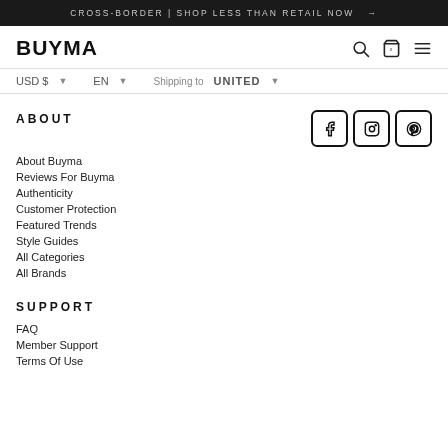CROSS-BORDER | SHOP LESS THAN RETAIL NOW →
BUYMA
USD $ ▾   EN ▾   Shipping to UNITED ▾
ABOUT
[Figure (other): Social media icons: Facebook, Instagram, Pinterest in square boxes]
About Buyma
Reviews For Buyma
Authenticity
Customer Protection
Featured Trends
Style Guides
All Categories
All Brands
SUPPORT
FAQ
Member Support
Terms Of Use